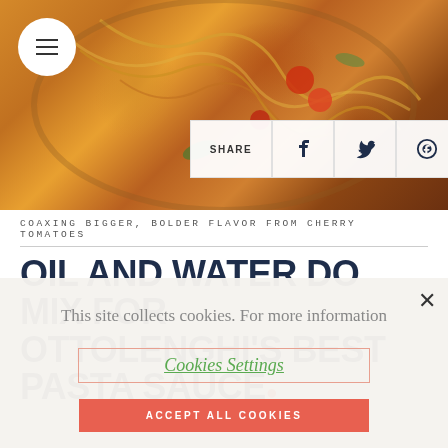[Figure (photo): Food photo showing pasta with tomatoes and vegetables in a bowl, viewed from above]
COAXING BIGGER, BOLDER FLAVOR FROM CHERRY TOMATOES
OIL AND WATER DO MIX FOR OTTOLENGHI'S BEST PASTA SAUCE
This site collects cookies. For more information
Cookies Settings
ACCEPT ALL COOKIES